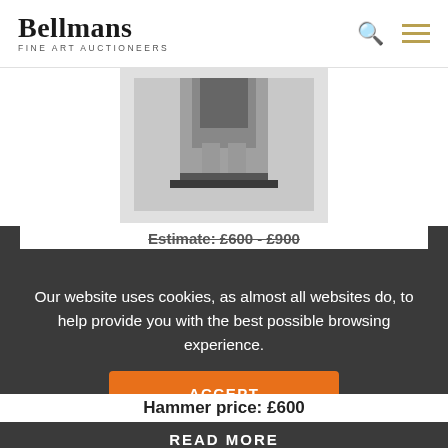Bellmans FINE ART AUCTIONEERS
[Figure (photo): Partial view of a vintage gelatin silver print photograph by Dora Maar showing a nude figure, cropped, displayed in a light grey mat/mount]
Lot 19 Sold
DORA MAAR (1907 -...
DORA MAAR (1907 - 1997) Untitled: nude taking off robe, ca. 1930s. vintage gelatin silver print,...
Hammer price: £600
Our website uses cookies, as almost all websites do, to help provide you with the best possible browsing experience.
Estimate: £600 - £900
ACCEPT
READ MORE